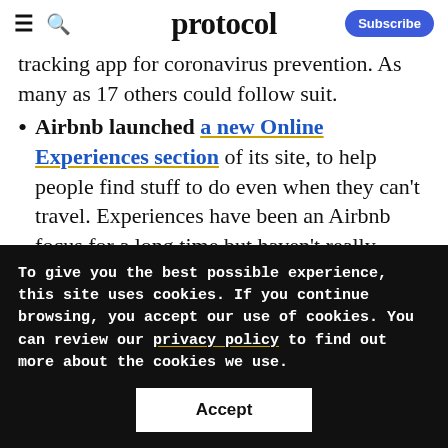protocol — Subscribe
tracking app for coronavirus prevention. As many as 17 others could follow suit.
Airbnb launched a new Online Experiences section of its site, to help people find stuff to do even when they can't travel. Experiences have been an Airbnb focus for a long time but haven't really caught on yet. With a lot of people
To give you the best possible experience, this site uses cookies. If you continue browsing, you accept our use of cookies. You can review our privacy policy to find out more about the cookies we use.
Accept